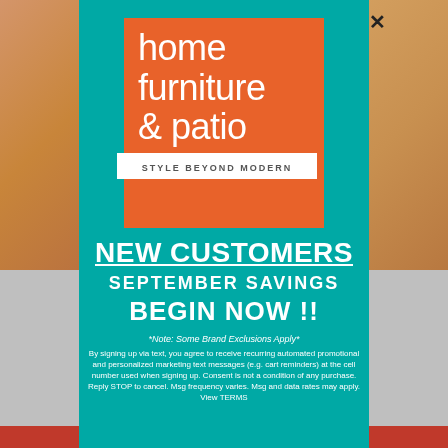[Figure (logo): Home Furniture & Patio logo - orange square with white text reading 'home furniture & patio' and white bar at bottom reading 'STYLE BEYOND MODERN']
NEW CUSTOMERS SEPTEMBER SAVINGS BEGIN NOW !!
*Note: Some Brand Exclusions Apply*
By signing up via text, you agree to receive recurring automated promotional and personalized marketing text messages (e.g. cart reminders) at the cell number used when signing up. Consent is not a condition of any purchase. Reply STOP to cancel. Msg frequency varies. Msg and data rates may apply. View TERMS